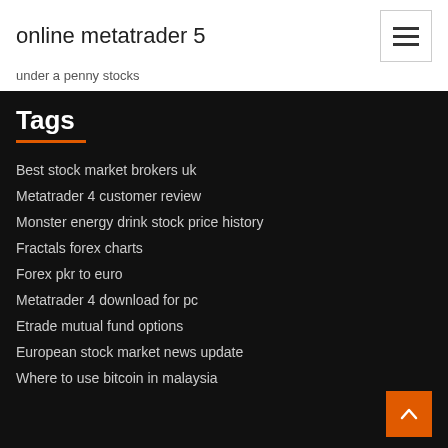online metatrader 5
under a penny stocks
Tags
Best stock market brokers uk
Metatrader 4 customer review
Monster energy drink stock price history
Fractals forex charts
Forex pkr to euro
Metatrader 4 download for pc
Etrade mutual fund options
European stock market news update
Where to use bitcoin in malaysia